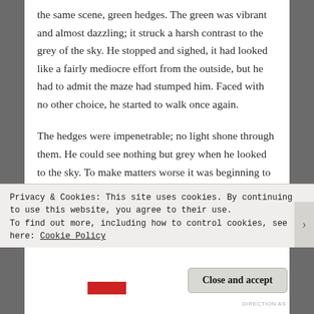the same scene, green hedges. The green was vibrant and almost dazzling; it struck a harsh contrast to the grey of the sky. He stopped and sighed, it had looked like a fairly mediocre effort from the outside, but he had to admit the maze had stumped him. Faced with no other choice, he started to walk once again.
The hedges were impenetrable; no light shone through them. He could see nothing but grey when he looked to the sky. To make matters worse it was beginning to get dark. Dark? It was only about three
Privacy & Cookies: This site uses cookies. By continuing to use this website, you agree to their use.
To find out more, including how to control cookies, see here: Cookie Policy